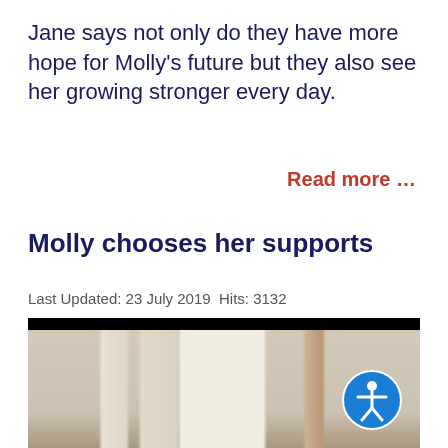Jane says not only do they have more hope for Molly's future but they also see her growing stronger every day.
Read more …
Molly chooses her supports
Last Updated: 23 July 2019  Hits: 3132
[Figure (photo): Photo of a woman with dark curly hair smiling, indoors in a room with curtains and natural light, with an accessibility icon button overlaid in the bottom right corner.]